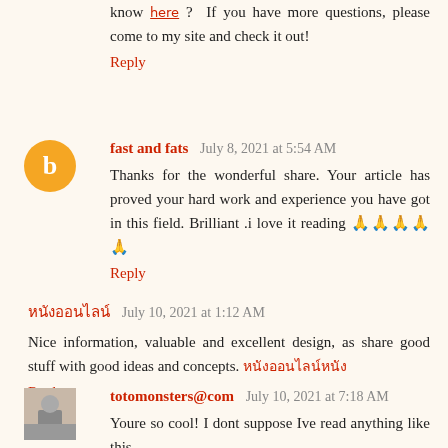know 𝗁𝖾𝗋𝖾 ? If you have more questions, please come to my site and check it out!
Reply
fast and fats  July 8, 2021 at 5:54 AM
Thanks for the wonderful share. Your article has proved your hard work and experience you have got in this field. Brilliant .i love it reading 🙏🙏🙏🙏🙏
Reply
𝗁𝖾𝗋𝖾𝗁𝖾𝗋𝖾  July 10, 2021 at 1:12 AM
Nice information, valuable and excellent design, as share good stuff with good ideas and concepts. 𝗁𝖾𝗋𝖾𝗁𝖾𝗋𝖾𝗁𝖾𝗋𝖾
Reply
totomonsters@com  July 10, 2021 at 7:18 AM
Youre so cool! I dont suppose Ive read anything like this